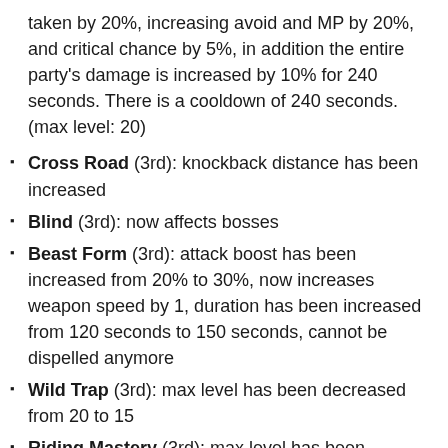taken by 20%, increasing avoid and MP by 20%, and critical chance by 5%, in addition the entire party's damage is increased by 10% for 240 seconds. There is a cooldown of 240 seconds. (max level: 20)
Cross Road (3rd): knockback distance has been increased
Blind (3rd): now affects bosses
Beast Form (3rd): attack boost has been increased from 20% to 30%, now increases weapon speed by 1, duration has been increased from 120 seconds to 150 seconds, cannot be dispelled anymore
Wild Trap (3rd): max level has been decreased from 20 to 15
Riding Mastery (3rd): max level has been decreased from 20 to 15
NEW SKILL: Dodge (3rd): You have a 30% evasion